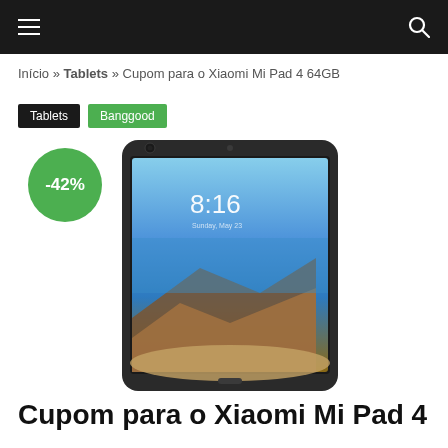≡  🔍
Início » Tablets » Cupom para o Xiaomi Mi Pad 4 64GB
Tablets
Banggood
[Figure (photo): Xiaomi Mi Pad 4 tablet with -42% discount badge overlay. The tablet shows a landscape wallpaper with mountains and beach on its screen displaying time 8:16.]
Cupom para o Xiaomi Mi Pad 4